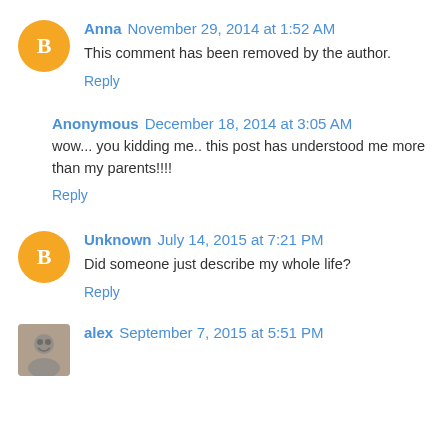Anna November 29, 2014 at 1:52 AM
This comment has been removed by the author.
Reply
Anonymous December 18, 2014 at 3:05 AM
wow... you kidding me.. this post has understood me more than my parents!!!!
Reply
Unknown July 14, 2015 at 7:21 PM
Did someone just describe my whole life?
Reply
alex September 7, 2015 at 5:51 PM